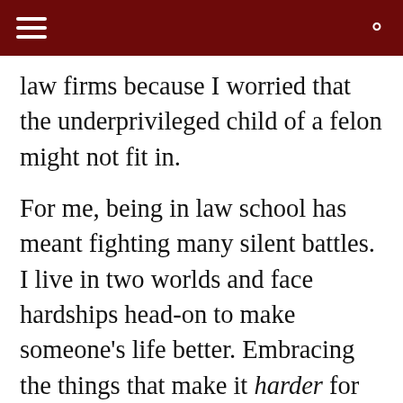[hamburger menu] [search icon]
law firms because I worried that the underprivileged child of a felon might not fit in.
For me, being in law school has meant fighting many silent battles. I live in two worlds and face hardships head-on to make someone's life better. Embracing the things that make it harder for me to go through life is a heavy burden. But that is who I am. I must accept my situation to reshape what happens next. So, I am taking criminal law